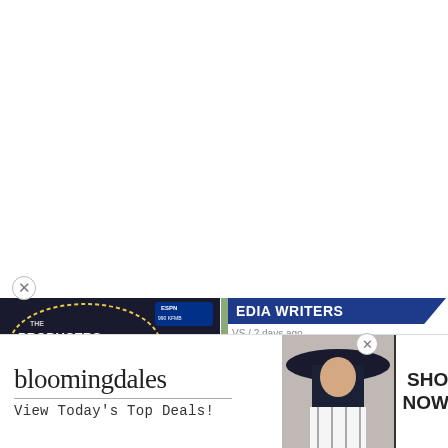[Figure (screenshot): Close button (X) circle icon for podcast ad overlay]
[Figure (screenshot): The Producers Podcast thumbnail with man in plaid shirt and play button overlay, EPISODE 9- label at bottom]
[Figure (screenshot): Blue banner reading 'EDIA WRITERS' (partially visible), news meta 'VS / 2 days ago', headline 'On-Air Changes Involving Joy Jason McIntyre']
EPISODE 9-
[Figure (screenshot): Bloomingdales advertisement showing logo, 'View Today's Top Deals!', model with hat, and SHOP NOW > button]
bloomingdales
View Today's Top Deals!
SHOP NOW >